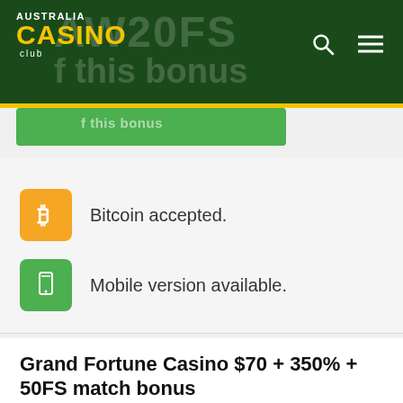AUSTRALIA CASINO club
Bitcoin accepted.
Mobile version available.
Grand Fortune Casino $70 + 350% + 50FS match bonus
Posted on December 22, 2016.
Grand Fortune Casino | match bonus | RTG